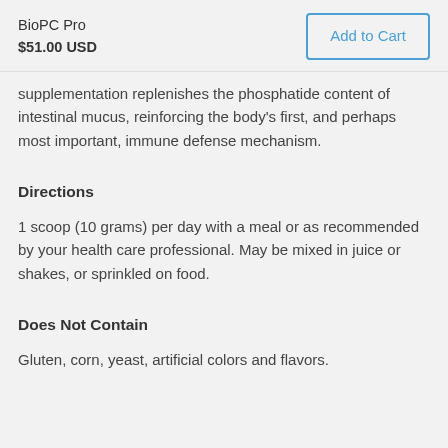BioPC Pro $51.00 USD
supplementation replenishes the phosphatide content of intestinal mucus, reinforcing the body's first, and perhaps most important, immune defense mechanism.
Directions
1 scoop (10 grams) per day with a meal or as recommended by your health care professional. May be mixed in juice or shakes, or sprinkled on food.
Does Not Contain
Gluten, corn, yeast, artificial colors and flavors.